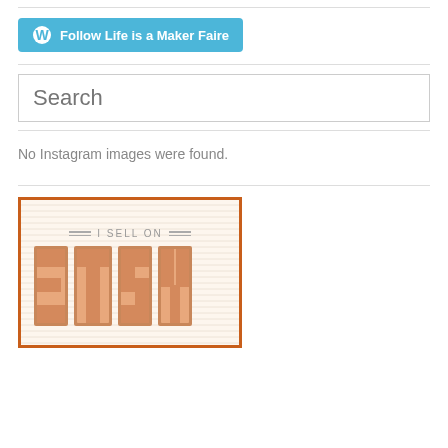[Figure (other): WordPress Follow button: 'Follow Life is a Maker Faire' in teal/blue with WordPress logo icon]
Search
No Instagram images were found.
[Figure (logo): Etsy seller badge: orange border, 'I SELL ON' text with decorative lines, large 'ETSY' text in orange/tan block letters on cream background with horizontal line pattern]